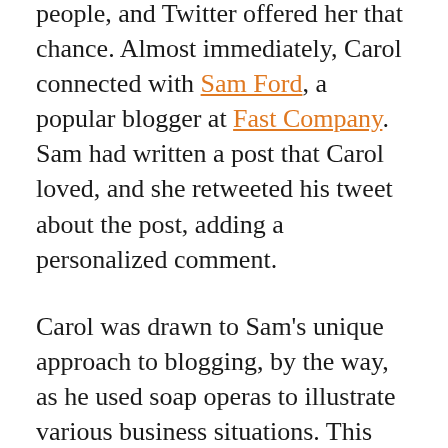people, and Twitter offered her that chance. Almost immediately, Carol connected with Sam Ford, a popular blogger at Fast Company. Sam had written a post that Carol loved, and she retweeted his tweet about the post, adding a personalized comment.
Carol was drawn to Sam's unique approach to blogging, by the way, as he used soap operas to illustrate various business situations. This caught Carol's eye and prompted her to praise his originality. Sam, like many journalists, kept a close eye on his Twitter account and thanked Carol for her comment. From there, the two started a conversation on Twitter about what it truly means to be a responsible business.